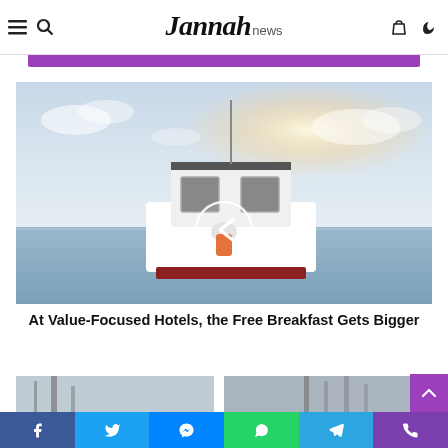Jannah news
[Figure (photo): A person on a boat at sea with circular navigation arrow overlay]
At Value-Focused Hotels, the Free Breakfast Gets Bigger
[Figure (photo): Two partial images at the bottom of the page]
[Figure (other): Social sharing bar with Facebook, Twitter, Messenger, WhatsApp, Telegram, Phone icons]